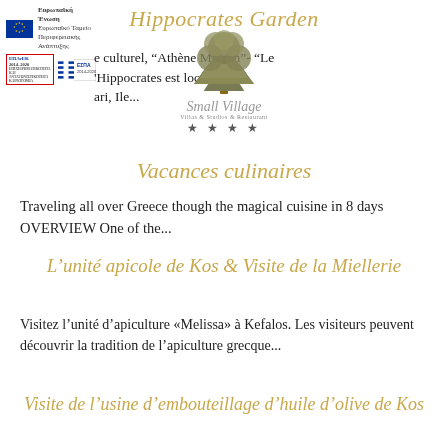[Figure (logo): EU flag and funding logos (Ευρωπαϊκή Ένωση, ΕΠΑνΕΚ 2014-2020, ΕΣΠΑ 2014-2020) on top-left, with a tree/olive branch logo (Small Village - Villas & Studios & Restaurant, 4 stars) centered on page]
Hippocrates Garden
e culturel, "Athène Maison"- "Le Hippocrates est localisée à ari, Ile...
Vacances culinaires
Traveling all over Greece though the magical cuisine in 8 days OVERVIEW One of the...
L'unité apicole de Kos & Visite de la Miellerie
Visitez l'unité d'apiculture «Melissa» à Kefalos. Les visiteurs peuvent découvrir la tradition de l'apiculture grecque...
Visite de l'usine d'embouteillage d'huile d'olive de Kos